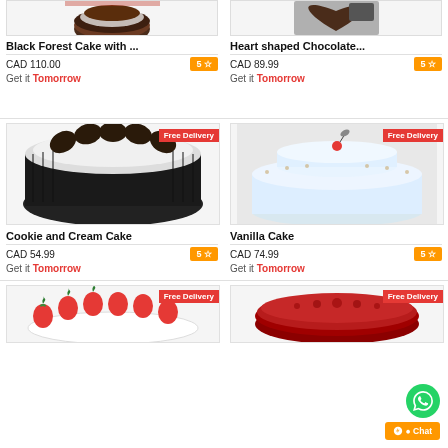[Figure (photo): Black Forest Cake with accessories, top of image cropped]
Black Forest Cake with ...
CAD 110.00
5 ☆
Get it Tomorrow
[Figure (photo): Heart shaped Chocolate cake, top of image cropped]
Heart shaped Chocolate...
CAD 89.99
5 ☆
Get it Tomorrow
[Figure (photo): Cookie and Cream Cake with Oreo cookies on top, Free Delivery badge]
Cookie and Cream Cake
CAD 54.99
5 ☆
Get it Tomorrow
[Figure (photo): Vanilla Cake with cherry on top, Free Delivery badge]
Vanilla Cake
CAD 74.99
5 ☆
Get it Tomorrow
[Figure (photo): Strawberry cake partially visible, Free Delivery badge]
[Figure (photo): Red velvet cake partially visible, Free Delivery badge]